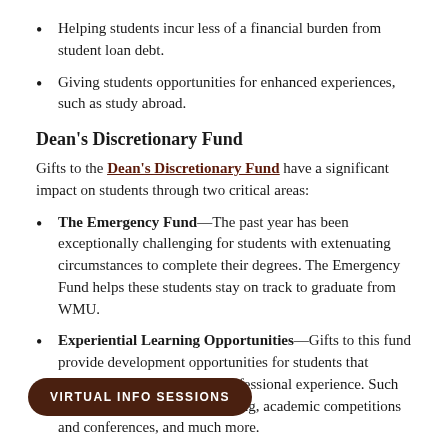Helping students incur less of a financial burden from student loan debt.
Giving students opportunities for enhanced experiences, such as study abroad.
Dean's Discretionary Fund
Gifts to the Dean's Discretionary Fund have a significant impact on students through two critical areas:
The Emergency Fund—The past year has been exceptionally challenging for students with extenuating circumstances to complete their degrees. The Emergency Fund helps these students stay on track to graduate from WMU.
Experiential Learning Opportunities—Gifts to this fund provide development opportunities for students that sharpen skills and provide professional experience. Such as career readiness programming, academic competitions and conferences, and much more.
VIRTUAL INFO SESSIONS